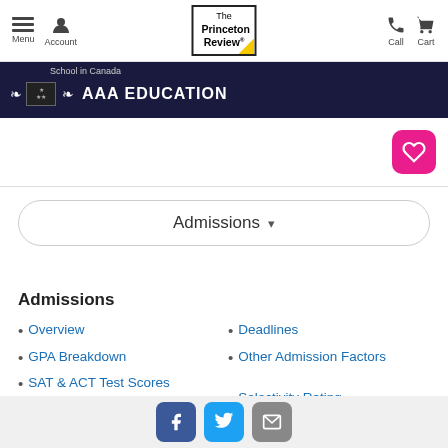Menu  Account  The Princeton Review  Call  Cart
[Figure (screenshot): AAA Education banner ad with dark navy background, laurel icons, and white bold text reading 'AAA EDUCATION'. Small text reads 'School in Canada'.]
Admissions
Admissions
Overview
GPA Breakdown
SAT & ACT Test Scores
Testing Policies
Deadlines
Other Admission Factors
Selectivity Rating